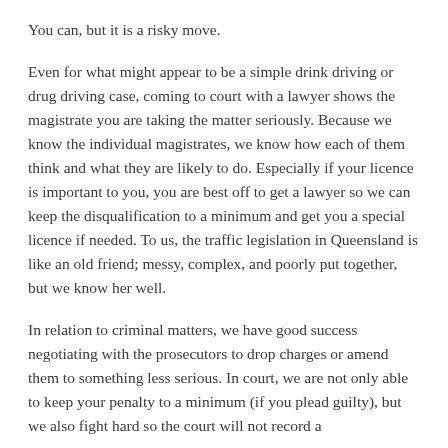You can, but it is a risky move.
Even for what might appear to be a simple drink driving or drug driving case, coming to court with a lawyer shows the magistrate you are taking the matter seriously. Because we know the individual magistrates, we know how each of them think and what they are likely to do. Especially if your licence is important to you, you are best off to get a lawyer so we can keep the disqualification to a minimum and get you a special licence if needed. To us, the traffic legislation in Queensland is like an old friend; messy, complex, and poorly put together, but we know her well.
In relation to criminal matters, we have good success negotiating with the prosecutors to drop charges or amend them to something less serious. In court, we are not only able to keep your penalty to a minimum (if you plead guilty), but we also fight hard so the court will not record a